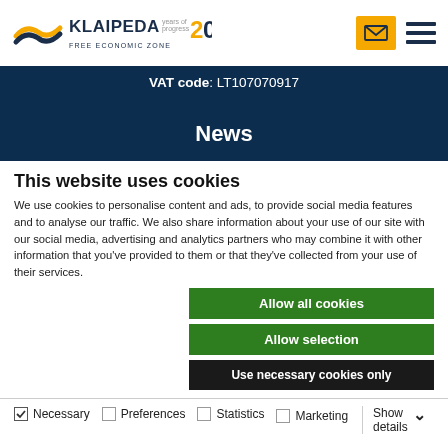Klaipeda Free Economic Zone logo header with mail and menu icons
VAT code: LT107070917
News
This website uses cookies
We use cookies to personalise content and ads, to provide social media features and to analyse our traffic. We also share information about your use of our site with our social media, advertising and analytics partners who may combine it with other information that you've provided to them or that they've collected from your use of their services.
Allow all cookies
Allow selection
Use necessary cookies only
Necessary  Preferences  Statistics  Marketing  Show details